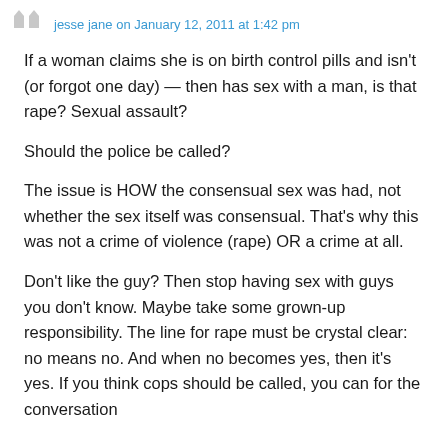jesse jane on January 12, 2011 at 1:42 pm
If a woman claims she is on birth control pills and isn't (or forgot one day) — then has sex with a man, is that rape? Sexual assault?
Should the police be called?
The issue is HOW the consensual sex was had, not whether the sex itself was consensual. That's why this was not a crime of violence (rape) OR a crime at all.
Don't like the guy? Then stop having sex with guys you don't know. Maybe take some grown-up responsibility. The line for rape must be crystal clear: no means no. And when no becomes yes, then it's yes. If you think cops should be called, you can for the conversation